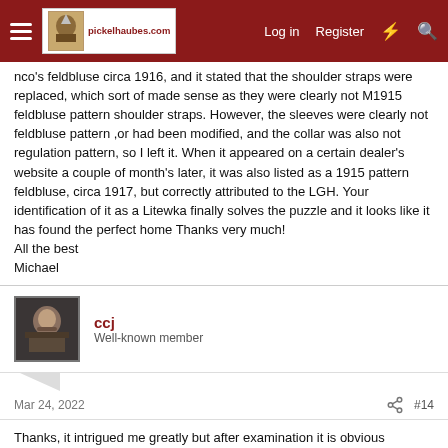pickelhaubes.com — Log in | Register
nco's feldbluse circa 1916, and it stated that the shoulder straps were replaced, which sort of made sense as they were clearly not M1915 feldbluse pattern shoulder straps. However, the sleeves were clearly not feldbluse pattern ,or had been modified, and the collar was also not regulation pattern, so I left it. When it appeared on a certain dealer's website a couple of month's later, it was also listed as a 1915 pattern feldbluse, circa 1917, but correctly attributed to the LGH. Your identification of it as a Litewka finally solves the puzzle and it looks like it has found the perfect home Thanks very much!
All the best
Michael
ccj
Well-known member
Mar 24, 2022  #14
Thanks, it intrigued me greatly but after examination it is obvious